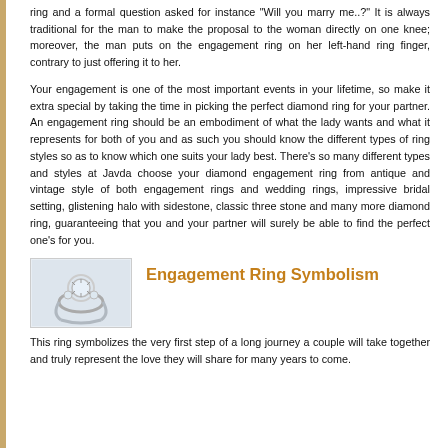ring and a formal question asked for instance "Will you marry me..?" It is always traditional for the man to make the proposal to the woman directly on one knee; moreover, the man puts on the engagement ring on her left-hand ring finger, contrary to just offering it to her.
Your engagement is one of the most important events in your lifetime, so make it extra special by taking the time in picking the perfect diamond ring for your partner. An engagement ring should be an embodiment of what the lady wants and what it represents for both of you and as such you should know the different types of ring styles so as to know which one suits your lady best. There's so many different types and styles at Javda choose your diamond engagement ring from antique and vintage style of both engagement rings and wedding rings, impressive bridal setting, glistening halo with sidestone, classic three stone and many more diamond ring, guaranteeing that you and your partner will surely be able to find the perfect one's for you.
[Figure (photo): A diamond engagement ring with a halo setting featuring a large center stone surrounded by smaller diamonds on a silver band.]
Engagement Ring Symbolism
This ring symbolizes the very first step of a long journey a couple will take together and truly represent the love they will share for many years to come.